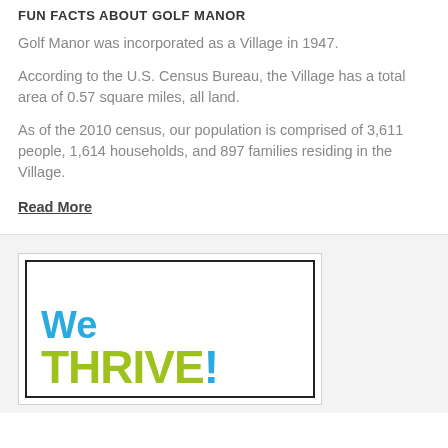FUN FACTS ABOUT GOLF MANOR
Golf Manor was incorporated as a Village in 1947.
According to the U.S. Census Bureau, the Village has a total area of 0.57 square miles, all land.
As of the 2010 census, our population is comprised of 3,611 people, 1,614 households, and 897 families residing in the Village.
Read More
[Figure (illustration): A framed promotional graphic with 'We' in blue text and 'THRIVE!' in green text with blue exclamation mark]